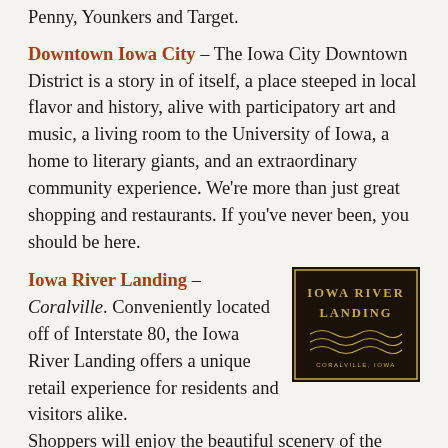Penny, Younkers and Target.
Downtown Iowa City – The Iowa City Downtown District is a story in of itself, a place steeped in local flavor and history, alive with participatory art and music, a living room to the University of Iowa, a home to literary giants, and an extraordinary community experience. We're more than just great shopping and restaurants. If you've never been, you should be here.
Iowa River Landing – Coralville. Conveniently located off of Interstate 80, the Iowa River Landing offers a unique retail experience for residents and visitors alike. Shoppers will enjoy the beautiful scenery of the Iowa River and the surrounding area as
[Figure (logo): Iowa River Landing logo — black background with gold text reading IOWA RIVER LANDING and CORALVILLE, IOWA, with decorative wave lines]